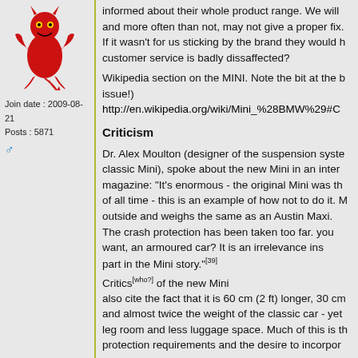[Figure (illustration): Red cartoon devil/demon figure crouching, used as forum avatar]
Join date : 2009-08-21
Posts : 5871
informed about their whole product range. We will and more often than not, may not give a proper fix. If it wasn't for us sticking by the brand they would h... customer service is badly dissaffected?
Wikipedia section on the MINI. Note the bit at the l... issue!)
http://en.wikipedia.org/wiki/Mini_%28BMW%29#C
Criticism
Dr. Alex Moulton (designer of the suspension syste... classic Mini), spoke about the new Mini in an inter... magazine: "It's enormous - the original Mini was th... of all time - this is an example of how not to do it. M... outside and weighs the same as an Austin Maxi. The crash protection has been taken too far. ... you want, an armoured car? It is an irrelevance ins... part in the Mini story."[39]
Critics[who?] of the new Mini also cite the fact that it is 60 cm (2 ft) longer, 30 cm... and almost twice the weight of the classic car - yet... leg room and less luggage space. Much of this is th... protection requirements and the desire to incorpor...